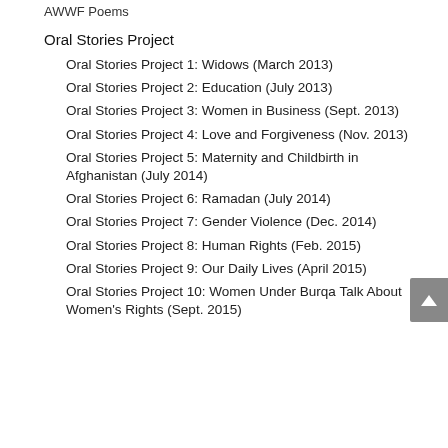AWWF Poems
Oral Stories Project
Oral Stories Project 1: Widows (March 2013)
Oral Stories Project 2: Education (July 2013)
Oral Stories Project 3: Women in Business (Sept. 2013)
Oral Stories Project 4: Love and Forgiveness (Nov. 2013)
Oral Stories Project 5: Maternity and Childbirth in Afghanistan (July 2014)
Oral Stories Project 6: Ramadan (July 2014)
Oral Stories Project 7: Gender Violence (Dec. 2014)
Oral Stories Project 8: Human Rights (Feb. 2015)
Oral Stories Project 9: Our Daily Lives (April 2015)
Oral Stories Project 10: Women Under Burqa Talk About Women's Rights (Sept. 2015)